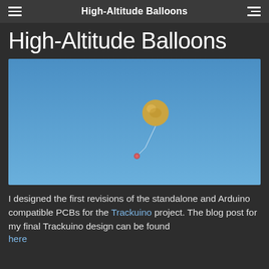High-Altitude Balloons
High-Altitude Balloons
[Figure (photo): A high-altitude weather balloon with a payload hanging below it, photographed against a clear blue sky.]
I designed the first revisions of the standalone and Arduino compatible PCBs for the Trackuino project. The blog post for my final Trackuino design can be found here